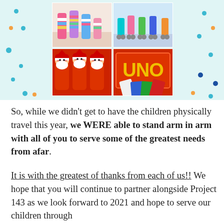[Figure (photo): A collage of four photos on a light teal/mint background with colorful polka dots: top-left shows children's colorful striped socks, top-right shows colorful roller skates, bottom-left shows Santa Claus character socks/figures, bottom-right shows a red UNO card game box.]
So, while we didn't get to have the children physically travel this year, we WERE able to stand arm in arm with all of you to serve some of the greatest needs from afar.
It is with the greatest of thanks from each of us!!  We hope that you will continue to partner alongside Project 143 as we look forward to 2021 and hope to serve our children through